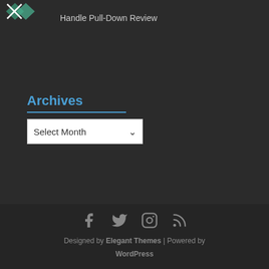[Figure (logo): Website logo with green/teal geometric pattern in top-left corner]
Handle Pull-Down Review
Archives
[Figure (screenshot): Select Month dropdown widget with white background]
Social media icons: Facebook, Twitter, Instagram, RSS
Designed by Elegant Themes | Powered by WordPress